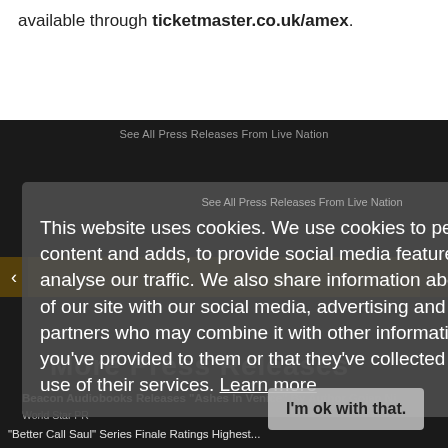available through ticketmaster.co.uk/amex.
[Figure (screenshot): Dark website banner showing 'See All Press Releases From Live Nation' with a cookie consent modal overlay containing text about cookie usage, a 'Learn more' link, and an 'I'm ok with that.' button. A gold navigation bar with arrows is visible, along with a 'More Press Releases' heading and a partially visible 'Beacon Audiobooks Releases Ashes In Venice By Author Gojan Ni' article link.]